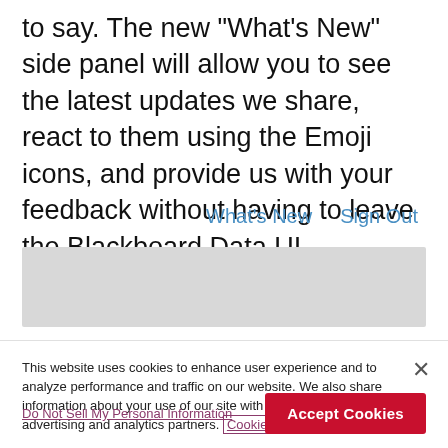to say. The new "What's New" side panel will allow you to see the latest updates we share, react to them using the Emoji icons, and provide us with your feedback without having to leave the Blackboard Data UI.
What's New    Sign Out
[Figure (screenshot): Gray rectangular UI area, partially visible]
This website uses cookies to enhance user experience and to analyze performance and traffic on our website. We also share information about your use of our site with our social media, advertising and analytics partners. Cookie Statement
Do Not Sell My Personal Information    Accept Cookies